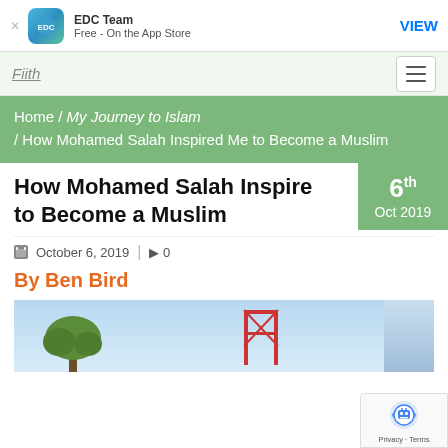EDC Team — Free - On the App Store — VIEW
Fiith
Home / My Journey to Islam / How Mohamed Salah Inspired Me to Become a Muslim
How Mohamed Salah Inspired Me to Become a Muslim
October 6, 2019 | 0
By Ben Bird
[Figure (photo): Outdoor photo showing a tree against a blue sky with a red scaffolding structure visible on the right]
[Figure (other): reCAPTCHA badge showing robot icon with Privacy and Terms text]